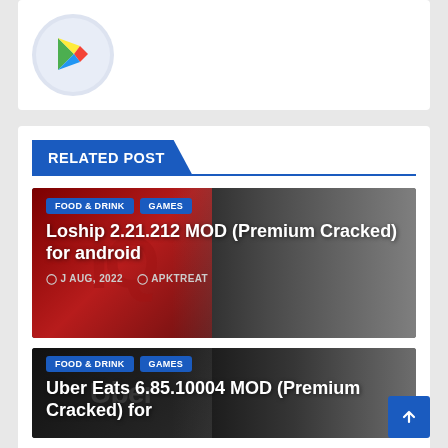[Figure (logo): Google Play Store logo icon in a circular frame with grey/blue background]
RELATED POST
[Figure (photo): Loship 2.21.212 MOD (Premium Cracked) for android post card with red background, food & drink and games tags, date J AUG, 2022, author APKTREAT]
[Figure (photo): Uber Eats 6.85.10004 MOD (Premium Cracked) for android post card with dark background, food & drink and games tags]